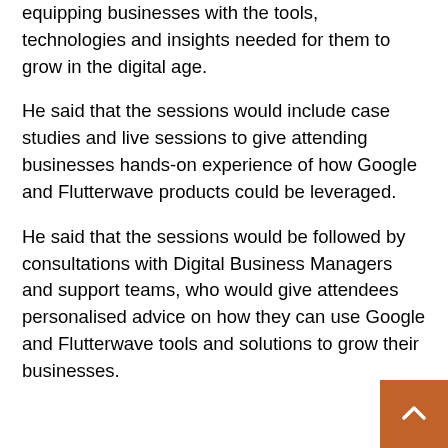equipping businesses with the tools, technologies and insights needed for them to grow in the digital age.
He said that the sessions would include case studies and live sessions to give attending businesses hands-on experience of how Google and Flutterwave products could be leveraged.
He said that the sessions would be followed by consultations with Digital Business Managers and support teams, who would give attendees personalised advice on how they can use Google and Flutterwave tools and solutions to grow their businesses.